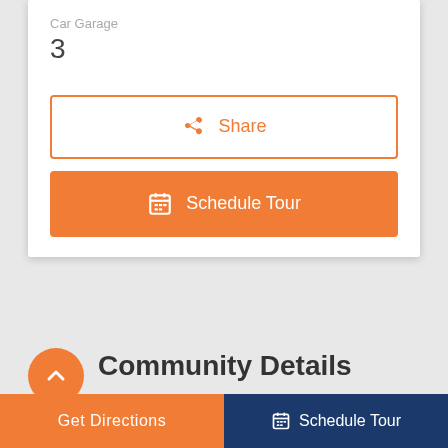Car Garage
3
Share
Schedule Tour
Community Details
Amenities
Get Directions
Schedule Tour